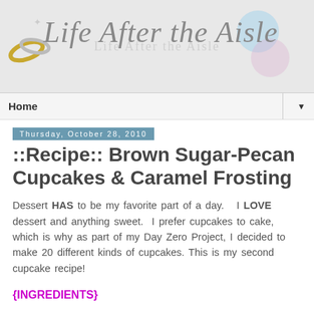[Figure (logo): Life After the Aisle blog logo with wedding rings graphic and decorative circles]
Home ▼
Thursday, October 28, 2010
::Recipe:: Brown Sugar-Pecan Cupcakes & Caramel Frosting
Dessert HAS to be my favorite part of a day.   I LOVE dessert and anything sweet.  I prefer cupcakes to cake, which is why as part of my Day Zero Project, I decided to make 20 different kinds of cupcakes. This is my second cupcake recipe!
{INGREDIENTS}